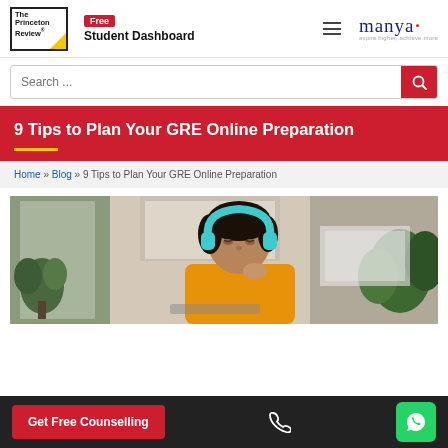The Princeton Review | Free | Student Dashboard | manya - aspire higher, achieve more
[Figure (screenshot): Search bar with magnifying glass icon on red background]
9 Tips to Plan Your GRE Online Preparation
Home » Blog » 9 Tips to Plan Your GRE Online Preparation
[Figure (photo): Young Asian woman wearing teal headphones and orange top, studying at a desk with laptop, plants in background]
Get Free Counselling